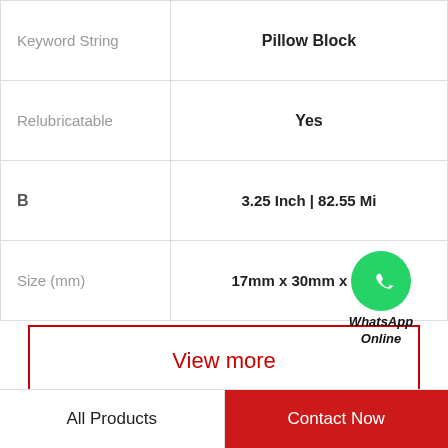| Property | Value |
| --- | --- |
| Keyword String | Pillow Block |
| Relubricatable | Yes |
| B | 3.25 Inch | 82.55 Mi |
| Size (mm) | 17mm x 30mm x 7mm |
View more
[Figure (logo): WhatsApp green circle logo with text WhatsApp Online]
Company Profile
NTN BEARING USA CORP.
All Products | Contact Now